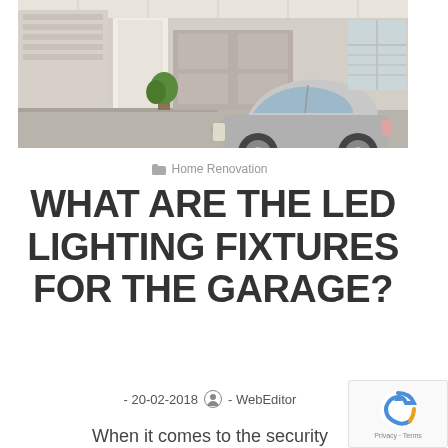[Figure (photo): Interior of a modern garage with a silver car parked inside, storage cabinets along the walls, and a plant near the door]
Home Renovation
WHAT ARE THE LED LIGHTING FIXTURES FOR THE GARAGE?
- 20-02-2018  - WebEditor
When it comes to the security